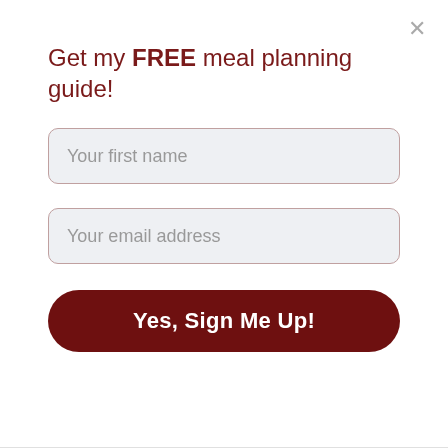Get my FREE meal planning guide!
Your first name
Your email address
Yes, Sign Me Up!
so sorry to hear about your loss :( I hope you had safe travels on your trip.
Pouring it over while still warm would be a lot easier to get it down into those holes. I love your idea for using this for a poke cake. I will have to try that. Thanks for the suggestion and your kind words. It is always a pleasure to hear form you :) Have a super week!!